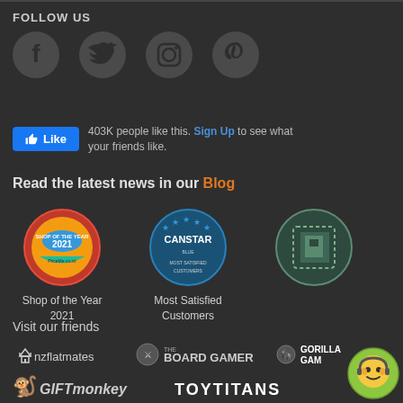FOLLOW US
[Figure (illustration): Four social media icons: Facebook, Twitter, Instagram, Pinterest — circular grey icons on dark background]
Like  403K people like this. Sign Up to see what your friends like.
Read the latest news in our Blog
[Figure (illustration): Three award badges: Shop of the Year 2021, CANSTAR Most Satisfied Customers, and a third circular badge]
Shop of the Year 2021
Most Satisfied Customers
Visit our friends
[Figure (logo): nzflatmates logo — white text with house icon]
[Figure (logo): The Board Gamer logo — shield with dice and bold text]
[Figure (logo): Gorilla Games logo — gorilla icon with bold white text (partially visible)]
[Figure (logo): GiftMonkey logo — monkey gift icon with stylized text]
[Figure (logo): TOYTITANS logo — bold white block letters]
[Figure (illustration): Circular customer support avatar — cartoon monkey face with headset, green/yellow circle background]